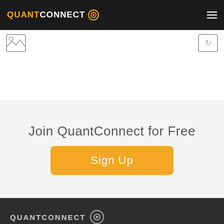QUANTCONNECT
[Figure (screenshot): Partial screenshot area with image placeholder icons on left and right sides, white background with light border]
Join QuantConnect for Free
Sign Up
QUANTCONNECT
QuantConnect™ 2022. All Rights Reserved